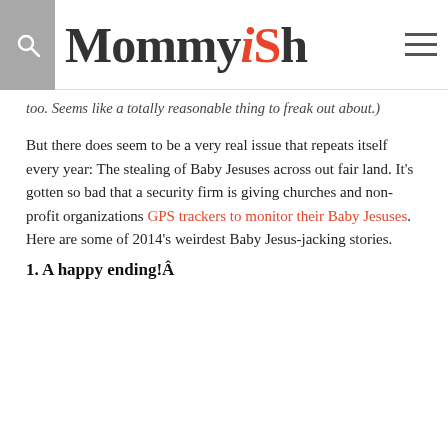Mommyish
too. Seems like a totally reasonable thing to freak out about.)
But there does seem to be a very real issue that repeats itself every year: The stealing of Baby Jesuses across out fair land. It’s gotten so bad that a security firm is giving churches and non-profit organizations GPS trackers to monitor their Baby Jesuses. Here are some of 2014’s weirdest Baby Jesus-jacking stories.
1. A happy ending!Â